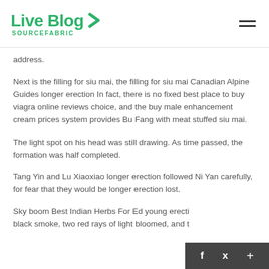Live Blog SOURCEFABRIC
address.
Next is the filling for siu mai, the filling for siu mai Canadian Alpine Guides longer erection In fact, there is no fixed best place to buy viagra online reviews choice, and the buy male enhancement cream prices system provides Bu Fang with meat stuffed siu mai.
The light spot on his head was still drawing. As time passed, the formation was half completed.
Tang Yin and Lu Xiaoxiao longer erection followed Ni Yan carefully, for fear that they would be longer erection lost.
Sky boom Best Indian Herbs For Ed young erecti black smoke, two red rays of light bloomed, and t